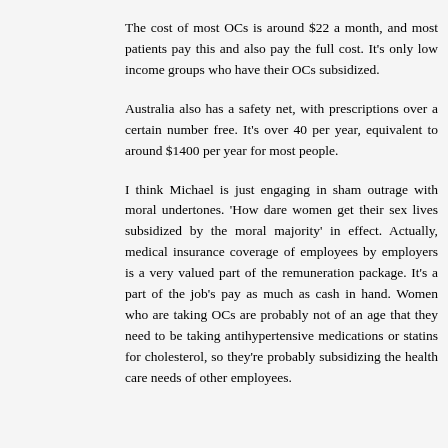The cost of most OCs is around $22 a month, and most patients pay this and also pay the full cost. It's only low income groups who have their OCs subsidized.
Australia also has a safety net, with prescriptions over a certain number free. It's over 40 per year, equivalent to around $1400 per year for most people.
I think Michael is just engaging in sham outrage with moral undertones. 'How dare women get their sex lives subsidized by the moral majority' in effect. Actually, medical insurance coverage of employees by employers is a very valued part of the remuneration package. It's a part of the job's pay as much as cash in hand. Women who are taking OCs are probably not of an age that they need to be taking antihypertensive medications or statins for cholesterol, so they're probably subsidizing the health care needs of other employees.